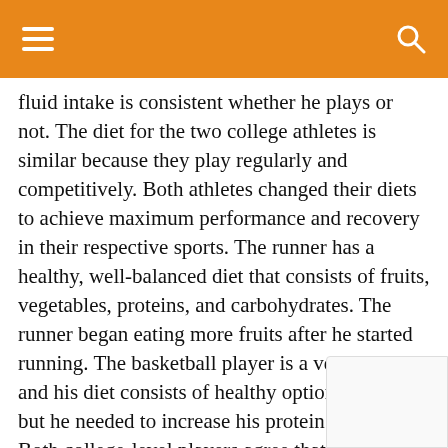[hamburger menu] [search icon]
fluid intake is consistent whether he plays or not. The diet for the two college athletes is similar because they play regularly and competitively. Both athletes changed their diets to achieve maximum performance and recovery in their respective sports. The runner has a healthy, well-balanced diet that consists of fruits, vegetables, proteins, and carbohydrates. The runner began eating more fruits after he started running. The basketball player is a vegetarian, and his diet consists of healthy options overall, but he needed to increase his protein intake. Both college-level players agree that the changes made to their diets enhanced their performance.
Interpretation: Athletes are different in skills and tr... The runner and basketball players are trained athletes who...